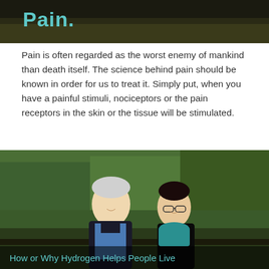[Figure (photo): Top portion of a photo with teal text reading 'Pain.' overlaid on a dark background with grass/nature]
Pain is often regarded as the worst enemy of mankind than death itself. The science behind pain should be known in order for us to treat it. Simply put, when you have a painful stimuli, nociceptors or the pain receptors in the skin or the tissue will be stimulated.
[Figure (photo): An elderly Asian couple smiling and walking together outdoors among green trees]
How or Why Hydrogen Helps People Live